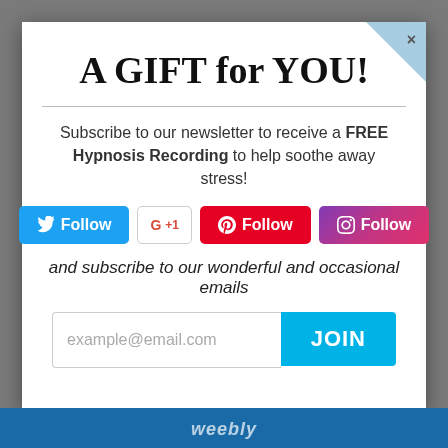A GIFT for YOU!
Subscribe to our newsletter to receive a FREE Hypnosis Recording to help soothe away stress!
[Figure (screenshot): Social media follow buttons: Twitter Follow, G+1, Pinterest Follow, Instagram Follow]
and subscribe to our wonderful and occasional emails
[Figure (screenshot): Email signup form with placeholder text 'example@email.com' and a JOIN button]